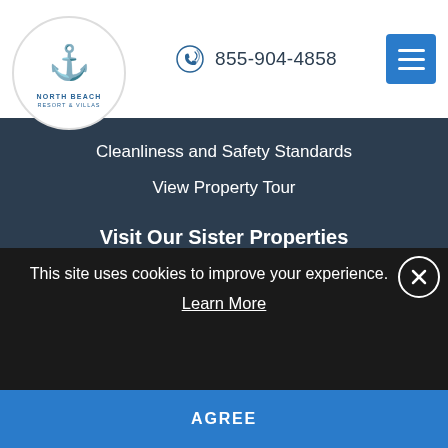North Beach Resort & Villas | 855-904-4858
Cleanliness and Safety Standards
View Property Tour
Visit Our Sister Properties
Bay View On The Boardwalk
Brittain Resorts
Caribbean Resort
Compass Cove Resort
This site uses cookies to improve your experience.
Learn More
AGREE